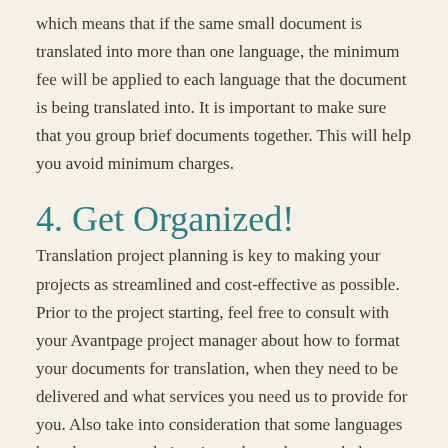which means that if the same small document is translated into more than one language, the minimum fee will be applied to each language that the document is being translated into. It is important to make sure that you group brief documents together. This will help you avoid minimum charges.
4. Get Organized!
Translation project planning is key to making your projects as streamlined and cost-effective as possible. Prior to the project starting, feel free to consult with your Avantpage project manager about how to format your documents for translation, when they need to be delivered and what services you need us to provide for you. Also take into consideration that some languages have longer translation times than others, and plan your projects and deadlines accordingly. For example, 100